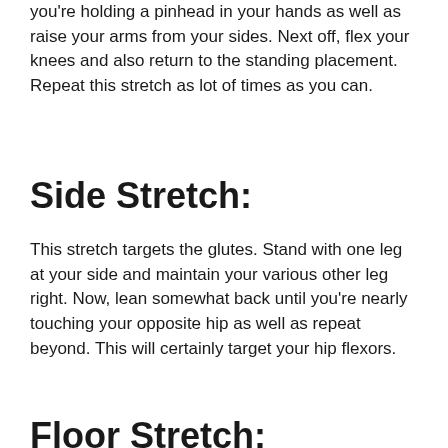you're holding a pinhead in your hands as well as raise your arms from your sides. Next off, flex your knees and also return to the standing placement. Repeat this stretch as lot of times as you can.
Side Stretch:
This stretch targets the glutes. Stand with one leg at your side and maintain your various other leg right. Now, lean somewhat back until you're nearly touching your opposite hip as well as repeat beyond. This will certainly target your hip flexors.
Floor Stretch: